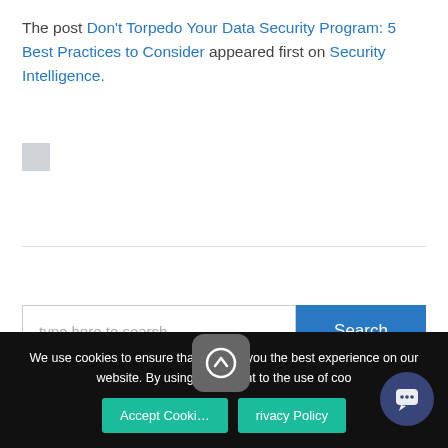The post Don't Torpedo Your Data Security Program: 5 Best Practices to Consider appeared first on Security Intelligence.
[Figure (screenshot): Small gray square icon below the text]
[Figure (screenshot): Search input field with placeholder 'type here to search' and a blue Search button]
Recent Posts
[Figure (screenshot): Chat popup with avatar group showing three profile photos and text: Got any questions? We're happy to help. with an X close button]
We use cookies to ensure that we give you the best experience on our website. By using our s... nsent to the use of coo...
[Figure (screenshot): Accept Cookies button and Privacy Policy button (teal/green), scroll-up arrow button (gray rounded square), and chat bubble button (dark blue circle)]